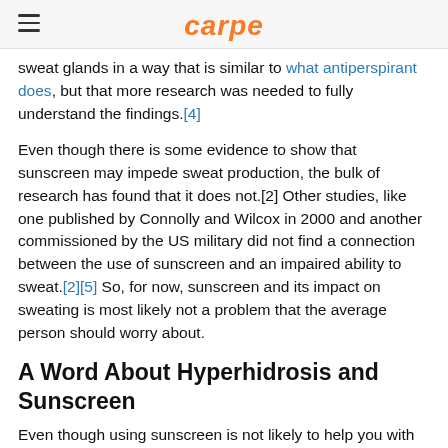carpe
sweat glands in a way that is similar to what antiperspirant does, but that more research was needed to fully understand the findings.[4]
Even though there is some evidence to show that sunscreen may impede sweat production, the bulk of research has found that it does not.[2] Other studies, like one published by Connolly and Wilcox in 2000 and another commissioned by the US military did not find a connection between the use of sunscreen and an impaired ability to sweat.[2][5] So, for now, sunscreen and its impact on sweating is most likely not a problem that the average person should worry about.
A Word About Hyperhidrosis and Sunscreen
Even though using sunscreen is not likely to help you with overactive sweat glands, it is especially important